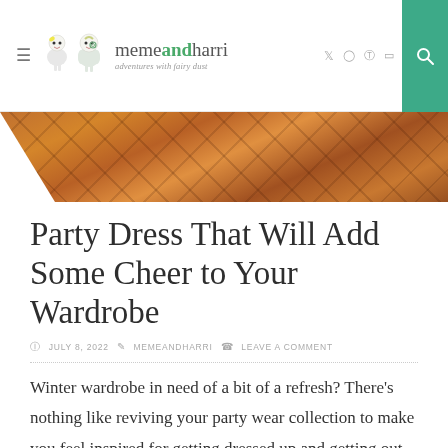memeandharri — adventures with fairy dust
[Figure (photo): Decorative wooden parquet floor hero banner image in warm brown tones with geometric pattern]
Party Dress That Will Add Some Cheer to Your Wardrobe
JULY 8, 2022  MEMEANDHARRI  LEAVE A COMMENT
Winter wardrobe in need of a bit of a refresh? There's nothing like reviving your party wear collection to make you feel inspired for getting dressed up and getting out there. Whether you've